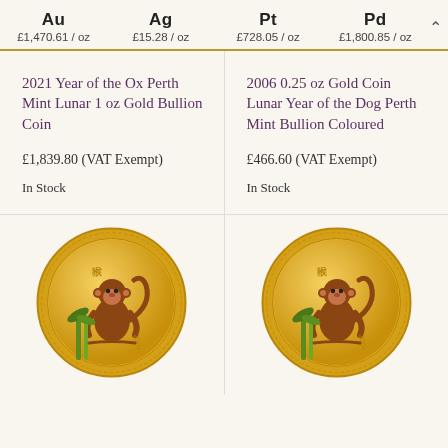Au £1,470.61/oz  Ag £15.28/oz  Pt £728.05/oz  Pd £1,800.85/oz
2021 Year of the Ox Perth Mint Lunar 1 oz Gold Bullion Coin
£1,839.80 (VAT Exempt)
In Stock
2006 0.25 oz Gold Coin Lunar Year of the Dog Perth Mint Bullion Coloured
£466.60 (VAT Exempt)
In Stock
[Figure (illustration): Gold bullion coin with monkey and bamboo design, Perth Mint Lunar series]
[Figure (illustration): Gold bullion coin with monkey and bamboo design, Perth Mint Lunar series, coloured version]